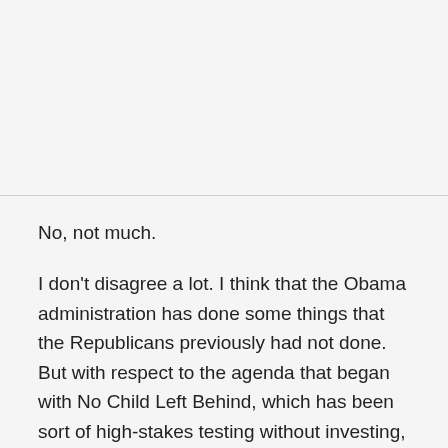No, not much.
I don't disagree a lot. I think that the Obama administration has done some things that the Republicans previously had not done. But with respect to the agenda that began with No Child Left Behind, which has been sort of high-stakes testing without investing, and very little investment in teacher training